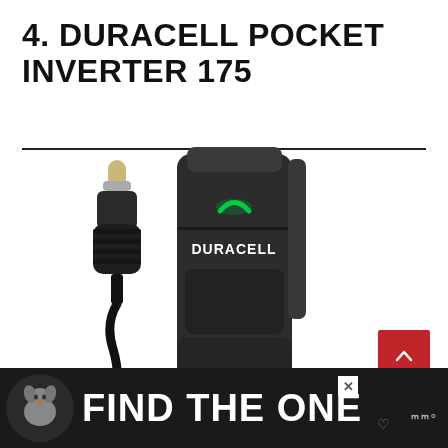4. DURACELL POCKET INVERTER 175
[Figure (photo): Duracell Pocket Inverter 175 product photo showing the compact black inverter device with a green LED indicator and the Duracell logo, alongside its 12V car adapter plug with cable]
[Figure (other): Advertisement banner: dog with text FIND THE ONE, with a close button X and Whistle logo]